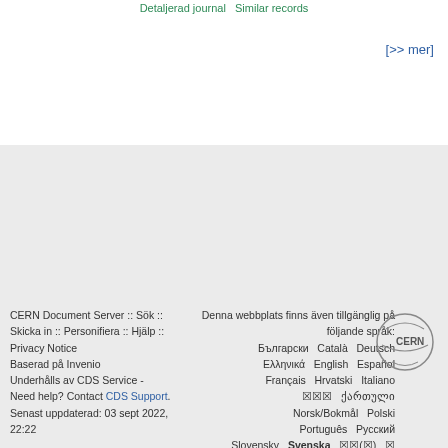Detaljerad journal   Similar records
[>> mer]
CERN Document Server :: Sök :: Skicka in :: Personifiera :: Hjälp :: Privacy Notice
Baserad på Invenio
Underhålls av CDS Service -
Need help? Contact CDS Support.
Senast uppdaterad: 03 sept 2022, 22:22
Denna webbplats finns även tillgänglig på följande språk:
Български  Català  Deutsch  Ελληνικά  English  Español  Français  Hrvatski  Italiano  ××× ქართული  Norsk/Bokmål  Polski  Português  Русский  Slovensky  Svenska  ××(×)  × ×(×)